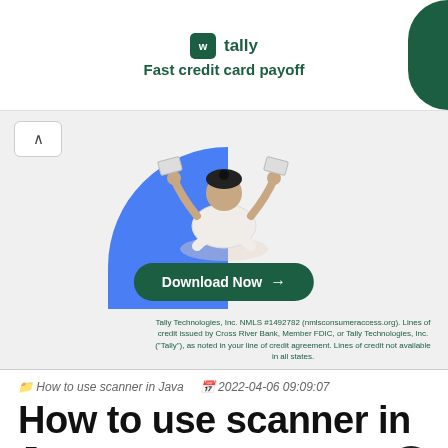[Figure (infographic): Tally app advertisement banner with logo, 'Fast credit card payoff' text, illustration of meditating person juggling credit cards, Download Now button, and fine print about Tally Technologies NMLS #1492782]
How to use scanner in Java  2022-04-06 09:09:07
How to use scanner in Java
Scanner class in Java is the part of java.util